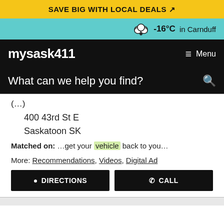SAVE BIG WITH LOCAL DEALS
-16°C in Carnduff
mysask411  Menu
What can we help you find?
400 43rd St E
Saskatoon SK
Matched on: …get your vehicle back to you…
More: Recommendations, Videos, Digital Ad
DIRECTIONS  CALL